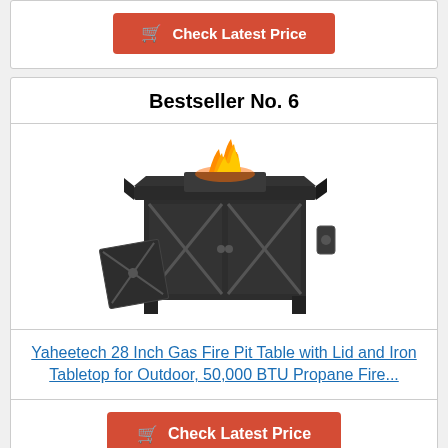Check Latest Price
Bestseller No. 6
[Figure (photo): Yaheetech 28 Inch Gas Fire Pit Table with a dark metal frame, X-pattern cabinet doors, square tabletop with fire flames visible, and a lid panel leaning against the front.]
Yaheetech 28 Inch Gas Fire Pit Table with Lid and Iron Tabletop for Outdoor, 50,000 BTU Propane Fire...
Check Latest Price